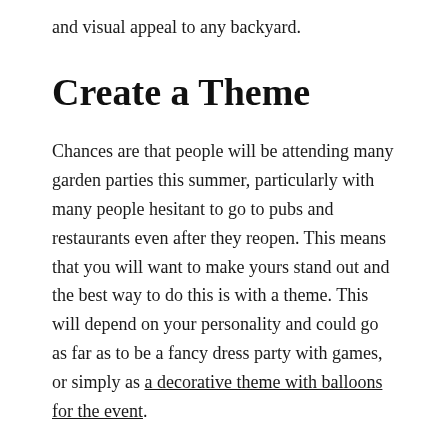and visual appeal to any backyard.
Create a Theme
Chances are that people will be attending many garden parties this summer, particularly with many people hesitant to go to pubs and restaurants even after they reopen. This means that you will want to make yours stand out and the best way to do this is with a theme. This will depend on your personality and could go as far as to be a fancy dress party with games, or simply as a decorative theme with balloons for the event.
Music